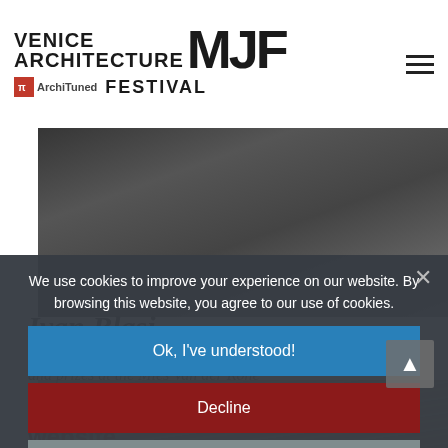Venice MJF Architecture Festival | ArchiTuned
[Figure (photo): Black and white photo of a person in dark clothing, partially visible behind the header logo]
Ivan Blasi
Curator and coordinator of programs and prizes at the Mies Van der Rohe
Mies Van Der Rohe Foundation
website
We use cookies to improve your experience on our website. By browsing this website, you agree to our use of cookies.
Ok, I've understood!
Decline
More Info
[Figure (photo): Photo showing the top of a person's head with gray/white hair, on a light beige background]